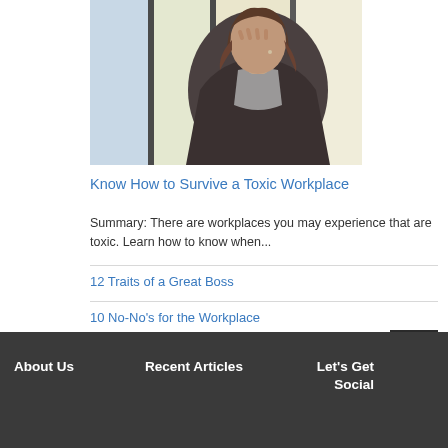[Figure (photo): Woman in a dark blazer holding her hand to her face in a stressed or upset pose, standing near windows with light behind her]
Know How to Survive a Toxic Workplace
Summary: There are workplaces you may experience that are toxic. Learn how to know when...
12 Traits of a Great Boss
10 No-No's for the Workplace
About Us   Recent Articles   Let's Get Social